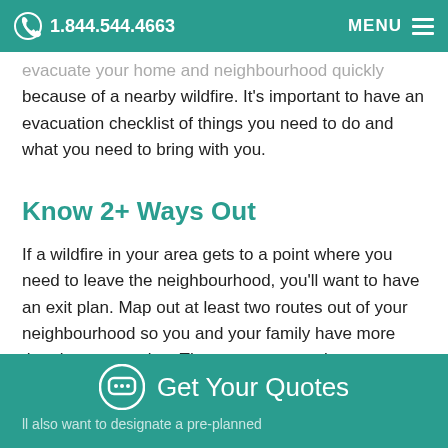1.844.544.4663  MENU
evacuate your home and neighbourhood quickly because of a nearby wildfire. It's important to have an evacuation checklist of things you need to do and what you need to bring with you.
Know 2+ Ways Out
If a wildfire in your area gets to a point where you need to leave the neighbourhood, you'll want to have an exit plan. Map out at least two routes out of your neighbourhood so you and your family have more than just one option. The more route options you map out the better.
Designate A Meeting Point
ll also want to designate a pre-planned
Get Your Quotes